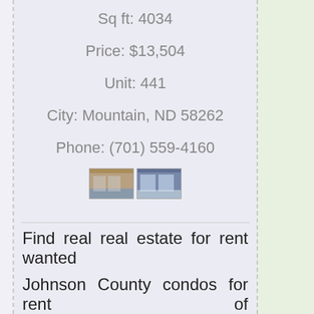Sq ft: 4034
Price: $13,504
Unit: 441
City: Mountain, ND 58262
Phone: (701) 559-4160
[Figure (photo): Two small thumbnail photos of real estate properties]
Find real real estate for rent wanted
Johnson County condos for rent of